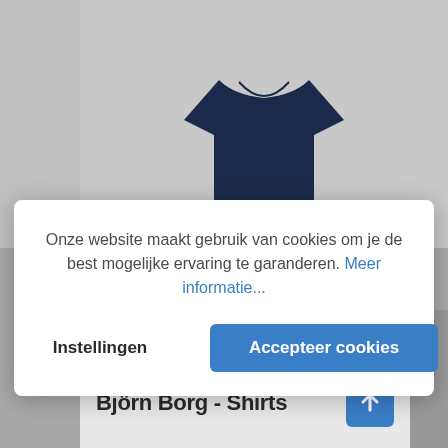[Figure (screenshot): E-commerce website screenshot showing a navy blue shirt product image at the top on a light gray background]
Onze website maakt gebruik van cookies om je de best mogelijke ervaring te garanderen. Meer informatie...
Instellingen
Accepteer cookies
Björn Borg - Shirts